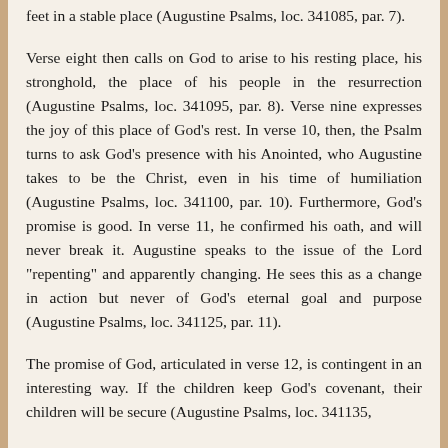feet in a stable place (Augustine Psalms, loc. 341085, par. 7).
Verse eight then calls on God to arise to his resting place, his stronghold, the place of his people in the resurrection (Augustine Psalms, loc. 341095, par. 8). Verse nine expresses the joy of this place of God's rest. In verse 10, then, the Psalm turns to ask God's presence with his Anointed, who Augustine takes to be the Christ, even in his time of humiliation (Augustine Psalms, loc. 341100, par. 10). Furthermore, God's promise is good. In verse 11, he confirmed his oath, and will never break it. Augustine speaks to the issue of the Lord "repenting" and apparently changing. He sees this as a change in action but never of God's eternal goal and purpose (Augustine Psalms, loc. 341125, par. 11).
The promise of God, articulated in verse 12, is contingent in an interesting way. If the children keep God's covenant, their children will be secure (Augustine Psalms, loc. 341135,